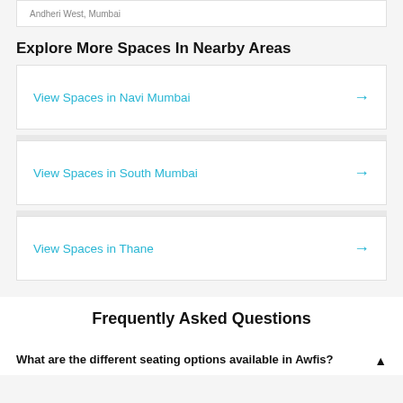Andheri West, Mumbai
Explore More Spaces In Nearby Areas
View Spaces in Navi Mumbai →
View Spaces in South Mumbai →
View Spaces in Thane →
Frequently Asked Questions
What are the different seating options available in Awfis?